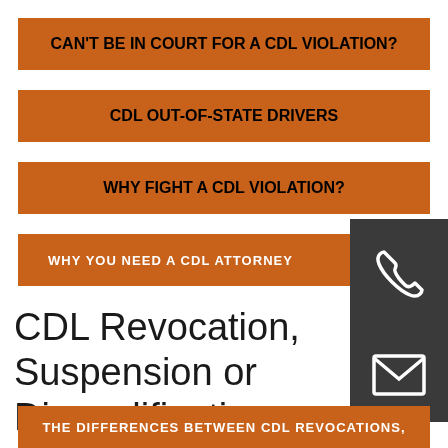CAN'T BE IN COURT FOR A CDL VIOLATION?
CDL OUT-OF-STATE DRIVERS
WHY FIGHT A CDL VIOLATION?
WHY YOU NEED A CDL ATTORNEY
[Figure (infographic): Dark gray square with white telephone handset icon]
[Figure (infographic): Dark gray square with white envelope/email icon]
CDL Revocation, Suspension or Disqualification
THE DIFFERENCES BETWEEN CDL REVOCATIONS,